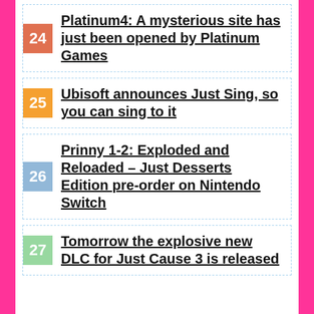24 Platinum4: A mysterious site has just been opened by Platinum Games
25 Ubisoft announces Just Sing, so you can sing to it
26 Prinny 1-2: Exploded and Reloaded – Just Desserts Edition pre-order on Nintendo Switch
27 Tomorrow the explosive new DLC for Just Cause 3 is released